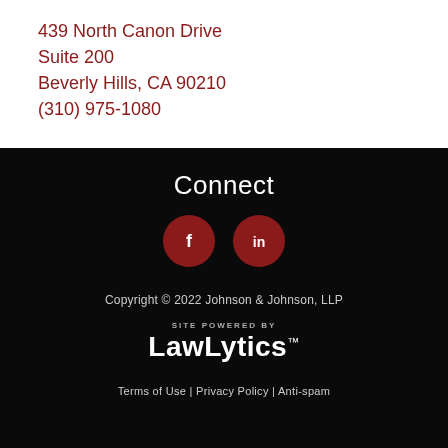439 North Canon Drive
Suite 200
Beverly Hills, CA 90210
(310) 975-1080
Connect
[Figure (illustration): Two social media icon circles: Facebook (f) and LinkedIn (in), dark red circles on black background]
Copyright © 2022 Johnson & Johnson, LLP
[Figure (logo): LawLytics logo with 'SITE POWERED BY' label above in small caps]
Terms of Use | Privacy Policy | Anti-spam